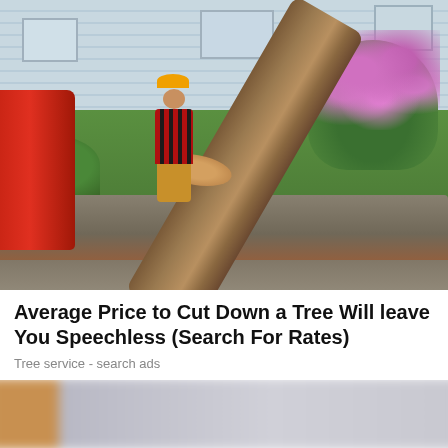[Figure (photo): A person wearing a red plaid shirt, khaki pants, and an orange hard hat stands in front of a large fallen tree trunk in a residential backyard. Red machinery is visible on the left. A house with blue-grey siding is in the background, with flowering bushes on the right.]
Average Price to Cut Down a Tree Will leave You Speechless (Search For Rates)
Tree service - search ads
[Figure (photo): Partially visible blurred image at the bottom of the page.]